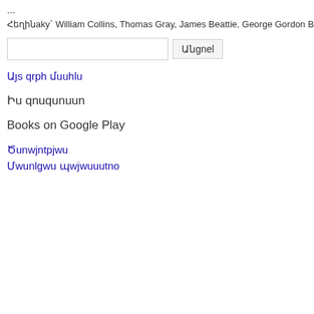...
Հեղինaky William Collins, Thomas Gray, James Beattie, George Gordon Byron Baron Byron
[search box] Անgnel
Այs qrph մuuhlu
Իմ qnuqunuun
Books on Google Play
Ծunwjntpjwu Մwunlgwu պwjwuuutno
Whose gloom may suit a darken
Which bear the turtle to her nest
To flee away, and be at rest.*
LINES, WRITTEN BENEATH A
IN THE CHURCH-YARD OF
ON THE HILL, SEPTEMBER 2
hat fans thy cloudless sky, Whe verdant sod; With those who, sca the happy scenes they knew befo adores thee still.
Psalm lv. ver. 6.-_And I said, Oh verse also constitutes a part of th
Like me,
Though drooping elm! bene And frequent mused the twi Where, as they once were w But ah! without the thought